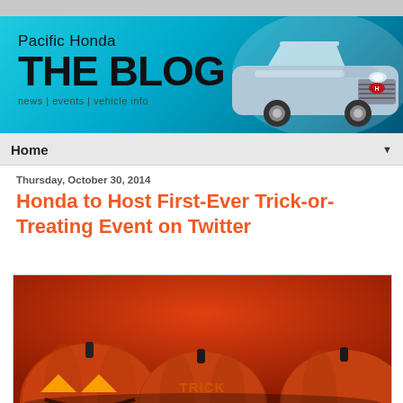[Figure (illustration): Pacific Honda THE BLOG banner with cyan/blue gradient background, car image on right, tagline 'news | events | vehicle info']
Home ▼
Thursday, October 30, 2014
Honda to Host First-Ever Trick-or-Treating Event on Twitter
[Figure (photo): Three Halloween jack-o-lanterns on an orange-red background. The middle pumpkin has 'TRICK' carved into it. Photo is partially cropped.]